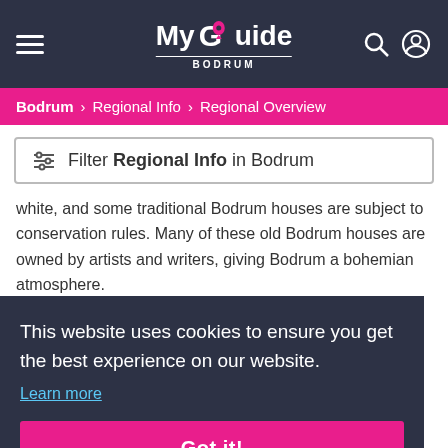My Guide BODRUM
Bodrum > Regional Info > Regional Overview
Filter Regional Info in Bodrum
white, and some traditional Bodrum houses are subject to conservation rules. Many of these old Bodrum houses are owned by artists and writers, giving Bodrum a bohemian atmosphere.
Places of Interest in Bodrum
This website uses cookies to ensure you get the best experience on our website. Learn more
Got it!
sophisticated health services.